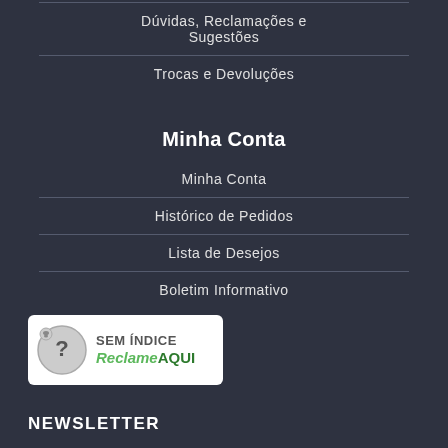Dúvidas, Reclamações e Sugestões
Trocas e Devoluções
Minha Conta
Minha Conta
Histórico de Pedidos
Lista de Desejos
Boletim Informativo
[Figure (logo): SEM ÍNDICE ReclameAQUI badge with question mark icon]
NEWSLETTER